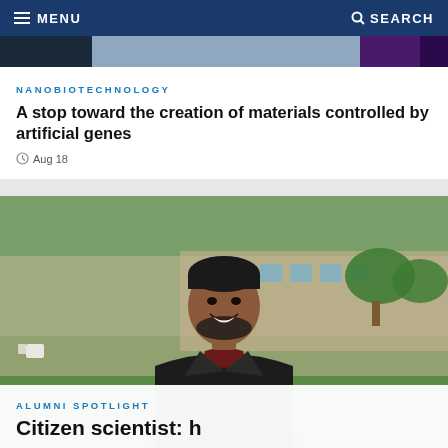MENU  SEARCH
NANOBIOTECHNOLOGY
A stop toward the creation of materials controlled by artificial genes
Aug 18
[Figure (photo): Smiling man with beard wearing a black leather jacket and maroon shirt, standing outdoors on a green lawn with a building visible in background]
ALUMNI SPOTLIGHT
Citizen scientist: h…